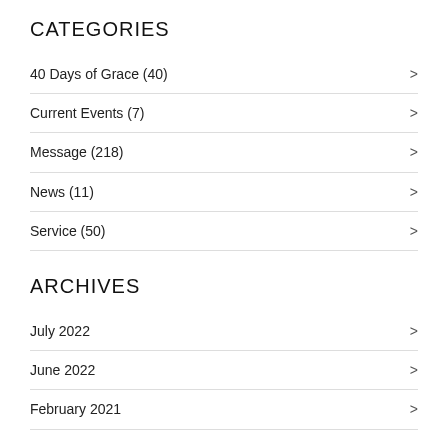CATEGORIES
40 Days of Grace (40)
Current Events (7)
Message (218)
News (11)
Service (50)
ARCHIVES
July 2022
June 2022
February 2021